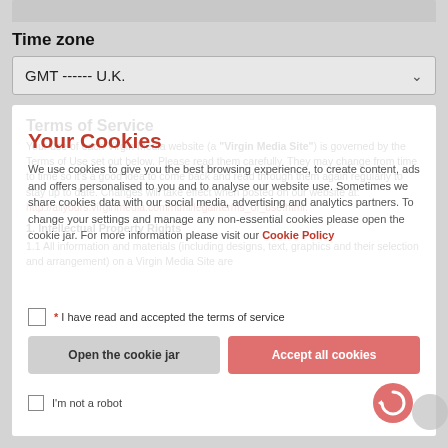Time zone
GMT ------ U.K.
Terms of Service
Your use of each Virgin Media website (a "Virgin Media Site") is governed by the Terms of Use set out below. Please read them carefully. They may change from time to time so it's a good idea to come back and read through them again regularly to stay up to date. Changes will take effect when posted on our website at: http://allyours.virginmedia.com/html/legal/terms_of_use.html.
1. Intellectual Property Rights
1.1 All information and materials (including designs, text, graphics and their selection and arrangement) on a Virgin Media Site are
Your Cookies
We use cookies to give you the best browsing experience, to create content, ads and offers personalised to you and to analyse our website use. Sometimes we share cookies data with our social media, advertising and analytics partners. To change your settings and manage any non-essential cookies please open the cookie jar. For more information please visit our Cookie Policy
* I have read and accepted the terms of service
Open the cookie jar
Accept all cookies
I'm not a robot